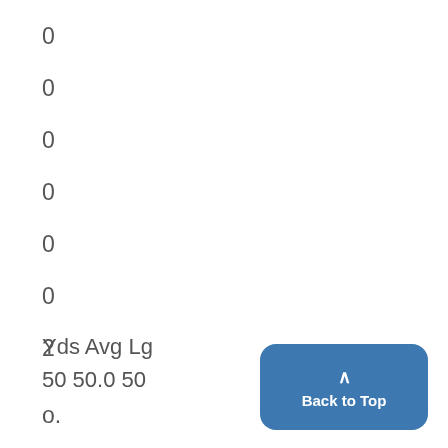0
0
0
0
0
0
2
o.
1
1
Yds Avg Lg
50 50.0 50
Back to Top